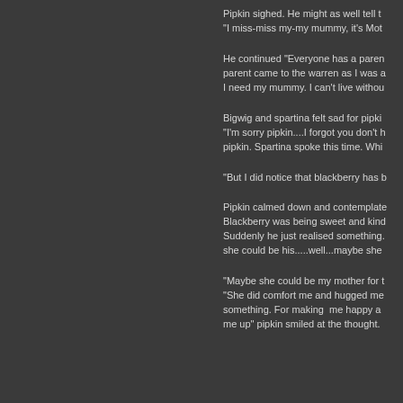Pipkin sighed. He might as well tell t "I miss-miss my-my mummy, it's Mot
He continued "Everyone has a paren parent came to the warren as I was a I need my mummy. I can't live withou
Bigwig and spartina felt sad for pipki "I'm sorry pipkin....I forgot you don't h pipkin. Spartina spoke this time. Whi
"But I did notice that blackberry has b
Pipkin calmed down and contemplate Blackberry was being sweet and kind Suddenly he just realised something. she could be his.....well...maybe she
"Maybe she could be my mother for t "She did comfort me and hugged me something. For making  me happy a me up" pipkin smiled at the thought.